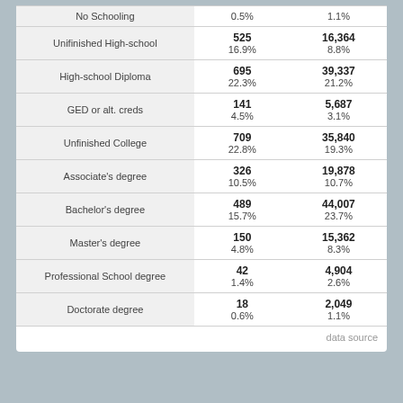|  |  |  |
| --- | --- | --- |
| No Schooling | 0.5% | 1.1% |
| Unifinished High-school | 525
16.9% | 16,364
8.8% |
| High-school Diploma | 695
22.3% | 39,337
21.2% |
| GED or alt. creds | 141
4.5% | 5,687
3.1% |
| Unfinished College | 709
22.8% | 35,840
19.3% |
| Associate's degree | 326
10.5% | 19,878
10.7% |
| Bachelor's degree | 489
15.7% | 44,007
23.7% |
| Master's degree | 150
4.8% | 15,362
8.3% |
| Professional School degree | 42
1.4% | 4,904
2.6% |
| Doctorate degree | 18
0.6% | 2,049
1.1% |
data source